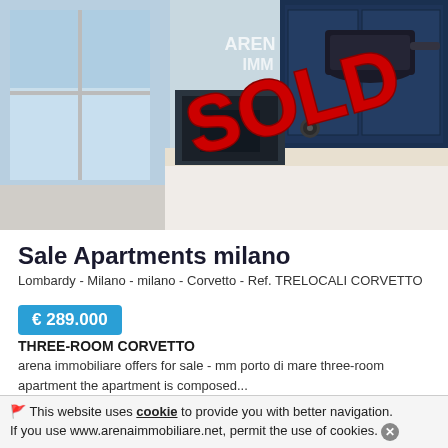[Figure (photo): Kitchen interior photo of an apartment with modern appliances, dark navy cabinets, white countertop, and large window on the left. A red 'SOLD' stamp overlays the image diagonally. Arena Immobiliare watermark/logo visible in upper center.]
Sale Apartments milano
Lombardy - Milano - milano - Corvetto - Ref. TRELOCALI CORVETTO
€ 289.000
THREE-ROOM CORVETTO
arena immobiliare offers for sale - mm porto di mare three-room apartment the apartment is composed...
🚩 This website uses cookie to provide you with better navigation. If you use www.arenaimmobiliare.net, permit the use of cookies.